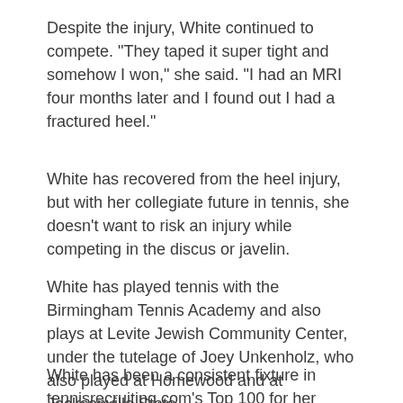Despite the injury, White continued to compete. "They taped it super tight and somehow I won," she said. "I had an MRI four months later and I found out I had a fractured heel."
White has recovered from the heel injury, but with her collegiate future in tennis, she doesn't want to risk an injury while competing in the discus or javelin.
White has played tennis with the Birmingham Tennis Academy and also plays at Levite Jewish Community Center, under the tutelage of Joey Unkenholz, who also played at Homewood and at Jacksonville State.
White has been a consistent fixture in tennisrecruiting.com's Top 100 for her class, achieving a ranking as high as No. 32 in 2016. She has won at the